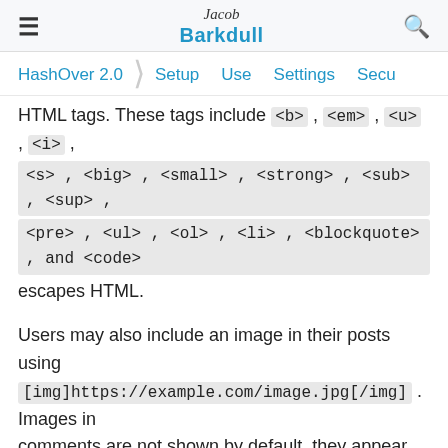Jacob Barkdull
HashOver 2.0  Setup  Use  Settings  Secu
HTML tags. These tags include <b>, <em>, <u>, <i>, <s>, <big>, <small>, <strong>, <sub>, <sup>, <pre>, <ul>, <ol>, <li>, <blockquote>, and <code> escapes HTML.
Users may also include an image in their posts using [img]https://example.com/image.jpg[/img] . Images in comments are not shown by default, they appear as a Polaroid-esque icon, which must be clicked for the image to be shown.
All other HTML in a comment will be escaped. The allowed HTML tags are case insensitive, but they must